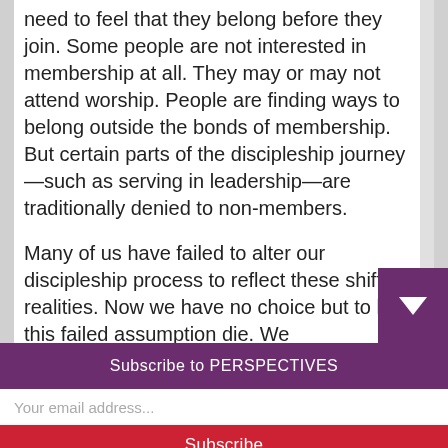need to feel that they belong before they join. Some people are not interested in membership at all. They may or may not attend worship. People are finding ways to belong outside the bonds of membership. But certain parts of the discipleship journey—such as serving in leadership—are traditionally denied to non-members.

Many of us have failed to alter our discipleship process to reflect these shifting realities. Now we have no choice but to let this failed assumption die. We
Subscribe to PERSPECTIVES
Your email address...
Subscribe